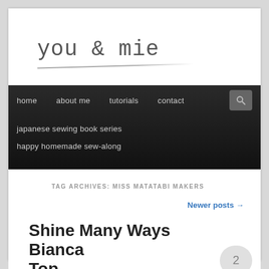you & mie
home   about me   tutorials   contact   japanese sewing book series   happy homemade sew-along
TAG ARCHIVES: MISS MATATABI MAKERS
Newer posts →
Shine Many Ways Bianca Top